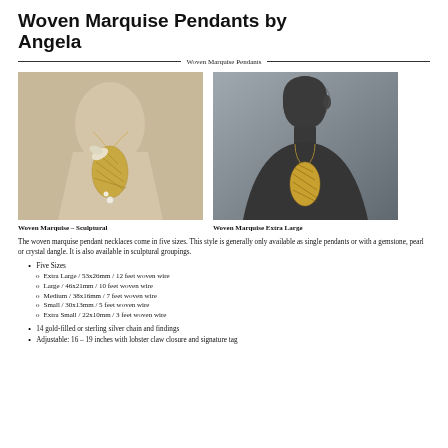Woven Marquise Pendants by Angela
Woven Marquise Pendants
[Figure (photo): Photo of a woman wearing a gold woven marquise pendant necklace with sculptural grouping on a chain]
[Figure (photo): Photo of a dark mannequin bust displaying a gold woven marquise pendant on a chain]
Woven Marquise – Sculptural
Woven Marquise Extra Large
The woven marquise pendant necklaces come in five sizes. This style is generally only available as single pendants or with a gemstone, pearl or crystal dangle. It is also available in sculptural groupings.
Five Sizes
Extra Large / 53x26mm / 12 feet woven wire
Large / 46x21mm / 10 feet woven wire
Medium / 38x16mm / 7 feet woven wire
Small / 30x13mm / 5 feet woven wire
Extra Small / 22x10mm / 3 feet woven wire
14 gold-filled or sterling silver chain and findings
Adjustable: 16 – 19 inches with lobster claw closure and signature tag